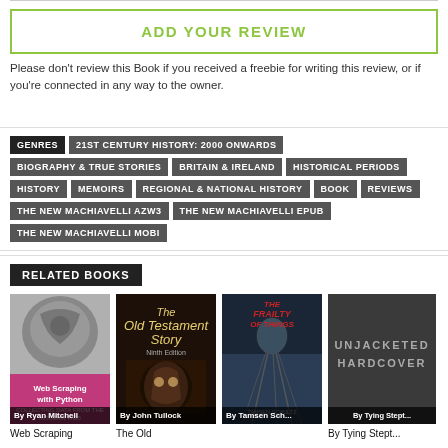ADD YOUR REVIEW
Please don't review this Book if you received a freebie for writing this review, or if you're connected in any way to the owner.
GENRES | 21ST CENTURY HISTORY: 2000 ONWARDS | BIOGRAPHY & TRUE STORIES | BRITAIN & IRELAND | HISTORICAL PERIODS | HISTORY | MEMOIRS | REGIONAL & NATIONAL HISTORY | BOOK | REVIEWS | THE NEW MACHIAVELLI AZW3 | THE NEW MACHIAVELLI EPUB | THE NEW MACHIAVELLI MOBI
RELATED BOOKS
[Figure (other): Book cover: Web Scraping with Python by Ryan Mitchell (O'Reilly)]
[Figure (other): Book cover: The Old Testament Story by John Tullock]
[Figure (other): Book cover: The Frailty of Things by Tamsen Schultz]
[Figure (other): Book cover: Unjacketed Hardcover by Tying Stept...]
Web Scraping
The Old
By Tying Stept...